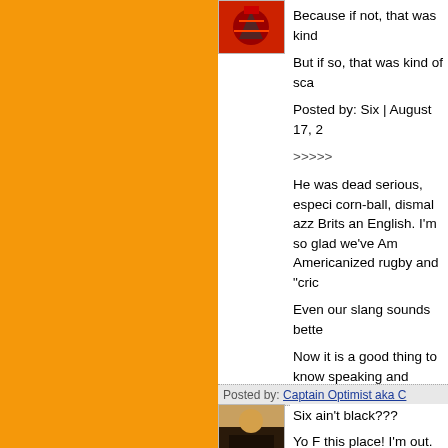[Figure (photo): Small avatar image with red and black colors, top left of comment]
Because if not, that was kind of...
But if so, that was kind of sca...
Posted by: Six | August 17, 2...
>>>>>
He was dead serious, especi... corn-ball, dismal azz Brits an... English. I'm so glad we've Am... Americanized rugby and "cric...
Even our slang sounds bette...
Now it is a good thing to know speaking and writing because should be done with an Amer...
Posted by: Captain Optimist aka C...
[Figure (photo): Small avatar image showing a person, brown tones]
Six ain't black???
Yo F this place! I'm out.
GO CANEZ!!!!!